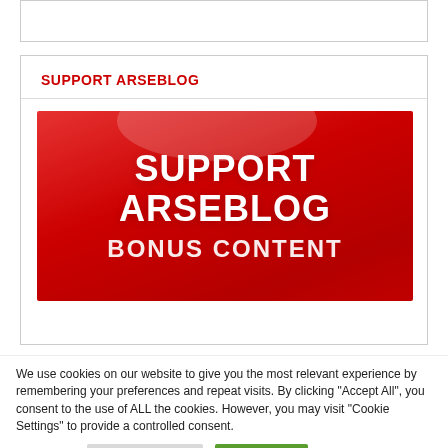[Figure (other): Empty white box with border at top of page]
SUPPORT ARSEBLOG
[Figure (illustration): Red banner image with white bold text reading SUPPORT ARSEBLOG and BONUS CONTENT]
We use cookies on our website to give you the most relevant experience by remembering your preferences and repeat visits. By clicking "Accept All", you consent to the use of ALL the cookies. However, you may visit "Cookie Settings" to provide a controlled consent.
Read More
Cookie Settings
Accept All